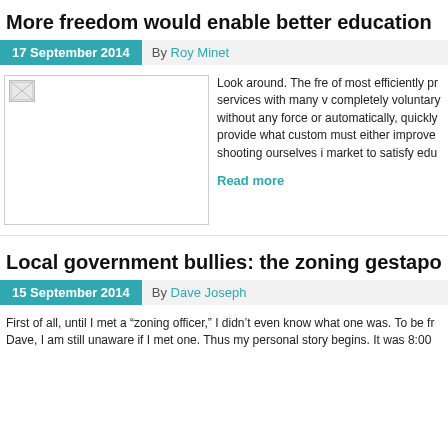More freedom would enable better education
17 September 2014  By Roy Minet
[Figure (photo): Broken/missing image placeholder]
Look around. The fre of most efficiently pr services with many v completely voluntary without any force or automatically, quickly provide what custom must either improve shooting ourselves i market to satisfy edu
Read more
Local government bullies: the zoning gestapo
15 September 2014  By Dave Joseph
First of all, until I met a “zoning officer,” I didn’t even know what one was. To be fr Dave, I am still unaware if I met one. Thus my personal story begins. It was 8:00